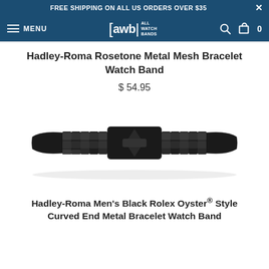FREE SHIPPING ON ALL US ORDERS OVER $35
[Figure (logo): fawb All Watch Bands logo in white on dark blue navigation bar with hamburger menu, search icon, and cart icon]
Hadley-Roma Rosetone Metal Mesh Bracelet Watch Band
$ 54.95
[Figure (photo): Black Rolex Oyster style metal bracelet watch band laid flat on white background, showing three-piece link construction with deployment clasp in center and curved ends]
Hadley-Roma Men's Black Rolex Oyster® Style Curved End Metal Bracelet Watch Band